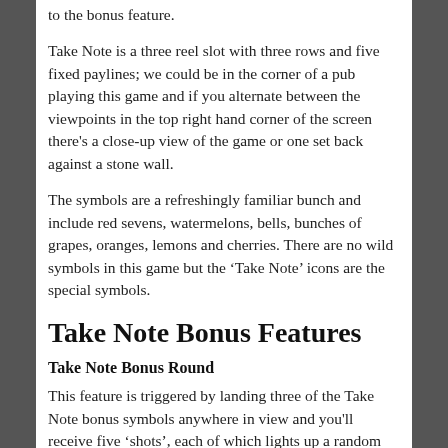to the bonus feature.
Take Note is a three reel slot with three rows and five fixed paylines; we could be in the corner of a pub playing this game and if you alternate between the viewpoints in the top right hand corner of the screen there's a close-up view of the game or one set back against a stone wall.
The symbols are a refreshingly familiar bunch and include red sevens, watermelons, bells, bunches of grapes, oranges, lemons and cherries. There are no wild symbols in this game but the ‘Take Note’ icons are the special symbols.
Take Note Bonus Features
Take Note Bonus Round
This feature is triggered by landing three of the Take Note bonus symbols anywhere in view and you'll receive five ‘shots’, each of which lights up a random selection of banknotes; this selection of banknotes is worth a certain amount and the highest total from the five shots